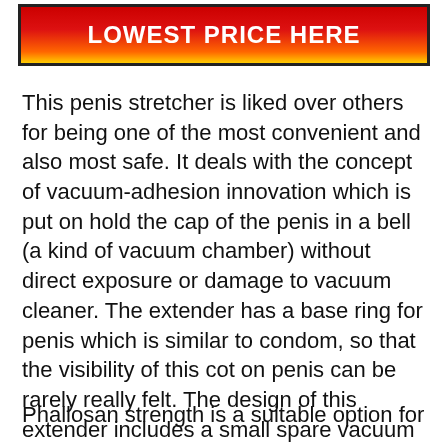[Figure (other): Red to yellow gradient banner button with bold white text reading LOWEST PRICE HERE, black border]
This penis stretcher is liked over others for being one of the most convenient and also most safe. It deals with the concept of vacuum-adhesion innovation which is put on hold the cap of the penis in a bell (a kind of vacuum chamber) without direct exposure or damage to vacuum cleaner. The extender has a base ring for penis which is similar to condom, so that the visibility of this cot on penis can be rarely really felt. The design of this extender includes a small spare vacuum pump that triggers the vacuum cleaner with couple of clicks.
Phallosan strength is a suitable option for